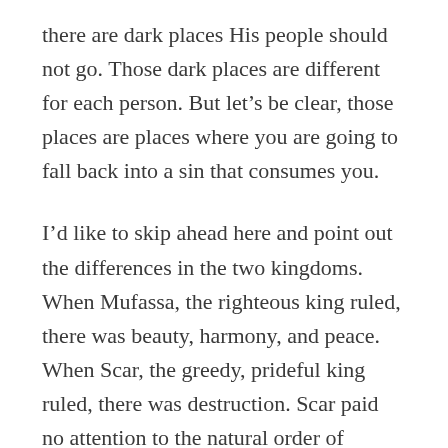there are dark places His people should not go. Those dark places are different for each person. But let's be clear, those places are places where you are going to fall back into a sin that consumes you.
I'd like to skip ahead here and point out the differences in the two kingdoms. When Mufassa, the righteous king ruled, there was beauty, harmony, and peace. When Scar, the greedy, prideful king ruled, there was destruction. Scar paid no attention to the natural order of